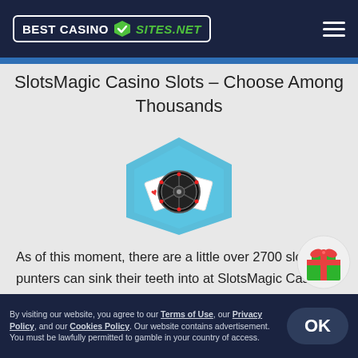BEST CASINO SITES.NET
SlotsMagic Casino Slots – Choose Among Thousands
[Figure (logo): SlotsMagic Casino hexagonal logo with roulette wheel and playing cards]
As of this moment, there are a little over 2700 slots that punters can sink their teeth into at SlotsMagic Casino UK. The number is quite extraordinary, and the selectees are carefully chosen to include smash hits, cult classics, and unique and interactive gameplay and features. With such an impressive portfolio, the operator is a true contender for the best slot sites in the UK, we
By visiting our website, you agree to our Terms of Use, our Privacy Policy, and our Cookies Policy. Our website contains advertisement. You must be lawfully permitted to gamble in your country of access.